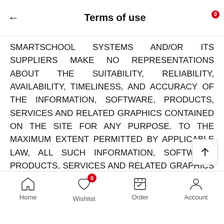Terms of use
SMARTSCHOOL SYSTEMS AND/OR ITS SUPPLIERS MAKE NO REPRESENTATIONS ABOUT THE SUITABILITY, RELIABILITY, AVAILABILITY, TIMELINESS, AND ACCURACY OF THE INFORMATION, SOFTWARE, PRODUCTS, SERVICES AND RELATED GRAPHICS CONTAINED ON THE SITE FOR ANY PURPOSE. TO THE MAXIMUM EXTENT PERMITTED BY APPLICABLE LAW, ALL SUCH INFORMATION, SOFTWARE, PRODUCTS, SERVICES AND RELATED GRAPHICS ARE PROVIDED “AS IS” WITHOUT WARRANTY OR CONDITION OF ANY KIND. SMARTSCHOOL SYSTEMS AND/OR ITS SUPPLIERS HEREBY DISCLAIM ALL WARRANTIES AND CONDITIONS WITH REGARD TO THIS INFORMATION, SOFTWARE, PRODUCTS, SERVICES AND RELATED GRAPHIC INCLUDING ALL IMPLIED WARRANTIES OR CONDITIONS OF
Home  Wishlist  Order  Account